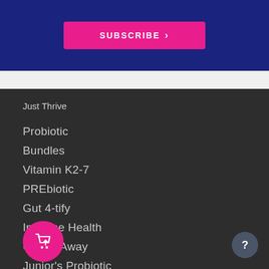[Figure (other): Subscribe button on dark blue background]
Just Thrive
Probiotic
Bundles
Vitamin K2-7
PREbiotic
Gut 4-tify
Immune Health
Gluten Away
Junior's Probiotic
Resources